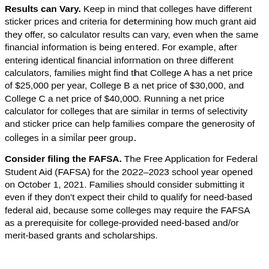Results can Vary. Keep in mind that colleges have different sticker prices and criteria for determining how much grant aid they offer, so calculator results can vary, even when the same financial information is being entered. For example, after entering identical financial information on three different calculators, families might find that College A has a net price of $25,000 per year, College B a net price of $30,000, and College C a net price of $40,000. Running a net price calculator for colleges that are similar in terms of selectivity and sticker price can help families compare the generosity of colleges in a similar peer group.
Consider filing the FAFSA. The Free Application for Federal Student Aid (FAFSA) for the 2022–2023 school year opened on October 1, 2021. Families should consider submitting it even if they don't expect their child to qualify for need-based federal aid, because some colleges may require the FAFSA as a prerequisite for college-provided need-based and/or merit-based grants and scholarships.